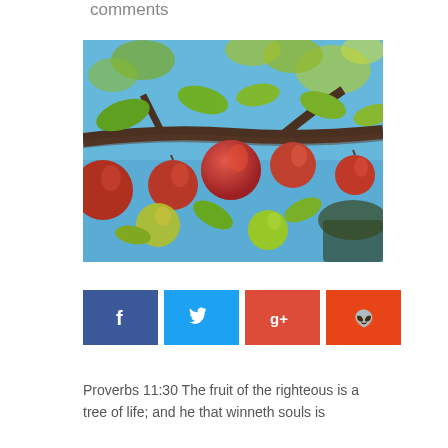comments
[Figure (photo): Apples growing on a tree branch against a blue sky, viewed from below. Red and green apples with green leaves visible.]
[Figure (infographic): Social sharing buttons: Facebook (dark blue, f icon), Twitter (light blue, bird icon), Google+ (red-orange, g+ icon), Reddit (orange-red, alien icon)]
Proverbs 11:30 The fruit of the righteous is a tree of life; and he that winneth souls is